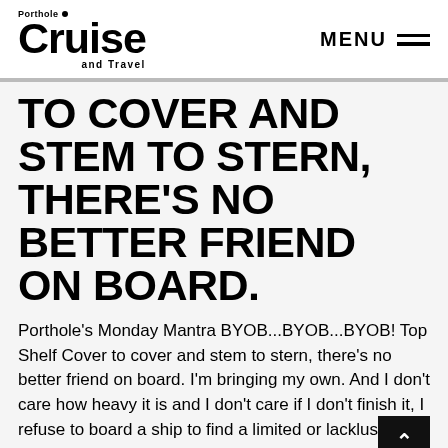Porthole Cruise and Travel — MENU
TO COVER AND STEM TO STERN, THERE'S NO BETTER FRIEND ON BOARD.
Porthole's Monday Mantra BYOB...BYOB...BYOB! Top Shelf Cover to cover and stem to stern, there's no better friend on board. I'm bringing my own. And I don't care how heavy it is and I don't care if I don't finish it, I refuse to board a ship to find a limited or lackluster selection. Wai